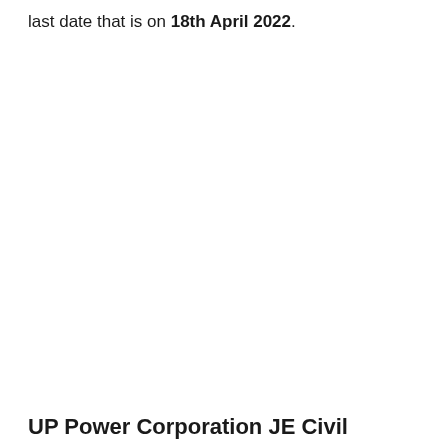last date that is on 18th April 2022.
UP Power Corporation JE Civil